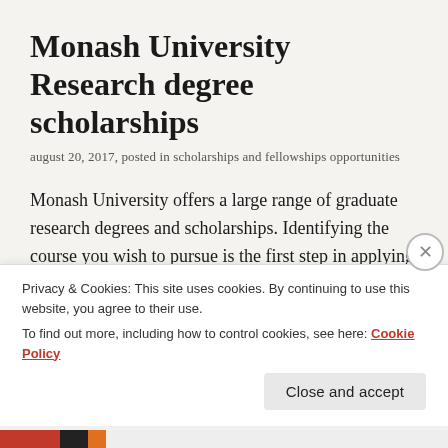Monash University Research degree scholarships
august 20, 2017, posted in scholarships and fellowships opportunities
Monash University offers a large range of graduate research degrees and scholarships. Identifying the course you wish to pursue is the first step in applying for a world-class graduate research degree at Monash University. You can start this by searching for courses or checking the Monash University Handbook. Scholarships You can apply for a scholarship at the
Privacy & Cookies: This site uses cookies. By continuing to use this website, you agree to their use.
To find out more, including how to control cookies, see here: Cookie Policy
Close and accept